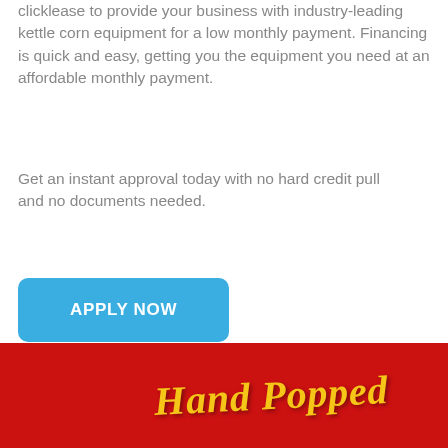clicklease to provide your business with industry-leading kettle corn equipment for a low monthly payment. Financing is quick and easy, getting you the equipment you need at an affordable monthly payment.
Get an instant approval today with no hard credit pull
and no documents needed.
APPLY NOW
[Figure (photo): Red banner with yellow cursive text reading 'Hand Popped']